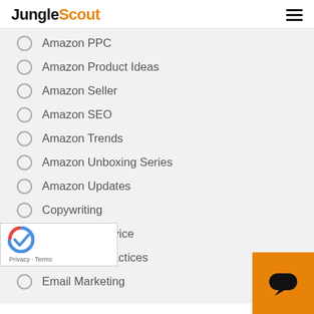JungleScout
Amazon PPC
Amazon Product Ideas
Amazon Seller
Amazon SEO
Amazon Trends
Amazon Unboxing Series
Amazon Updates
Copywriting
Customer Service
Email Best Practices
Email Marketing